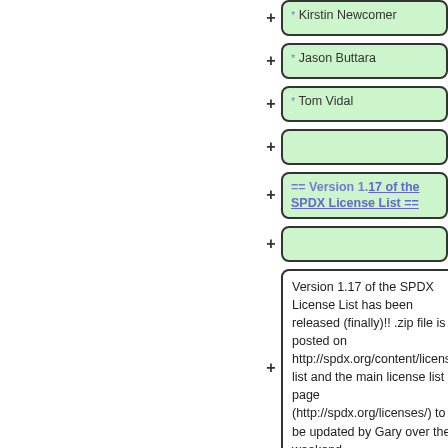* Kirstin Newcomer
* Jason Buttara
* Tom Vidal
(empty collapsed node)
== Version 1.17 of the SPDX License List ==
(empty collapsed node)
Version 1.17 of the SPDX License List has been released (finally)!! .zip file is posted on http://spdx.org/content/license-list and the main license list page (http://spdx.org/licenses/) to be updated by Gary over the weekend.
(empty collapsed node)
== Projects and Priorities for 2013 ==